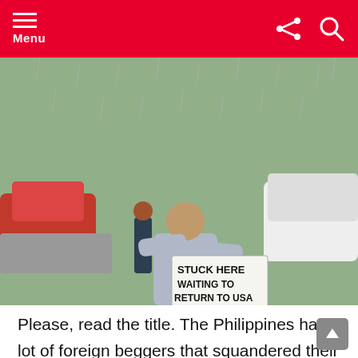Menu
[Figure (photo): A man standing between cars in traffic in the rain, holding a handwritten sign that reads: STUCK HERE WAITING TO RETURN TO USA NO MONEY HUNGRY Please Help]
Please, read the title. The Philippines has a lot of foreign beggers that squandered their money because they didn't have a plan and thought with their dicks/hearts. Don't make the mistake of moving to foreign nations without multiple sources of income or a consistent flow of passive income